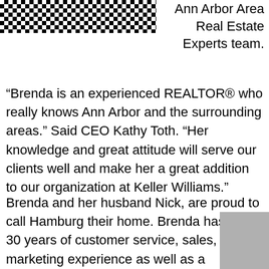[Figure (photo): Partial photo showing a houndstooth or checkered black and white pattern fabric or garment]
Ann Arbor Area Real Estate Experts team.
“Brenda is an experienced REALTOR® who really knows Ann Arbor and the surrounding areas.” Said CEO Kathy Toth. “Her knowledge and great attitude will serve our clients well and make her a great addition to our organization at Keller Williams.”
Brenda and her husband Nick, are proud to call Hamburg their home. Brenda has over 30 years of customer service, sales, and marketing experience as well as a Bachelor’s degree in Public Relations. With over Ten years as a Realtor “Her mission is to create lifelong
[Figure (photo): Partial gray/blurred image in bottom right corner]